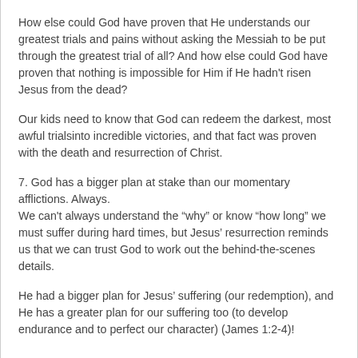How else could God have proven that He understands our greatest trials and pains without asking the Messiah to be put through the greatest trial of all? And how else could God have proven that nothing is impossible for Him if He hadn't risen Jesus from the dead?
Our kids need to know that God can redeem the darkest, most awful trialsinto incredible victories, and that fact was proven with the death and resurrection of Christ.
7. God has a bigger plan at stake than our momentary afflictions. Always.
We can't always understand the “why” or know “how long” we must suffer during hard times, but Jesus’ resurrection reminds us that we can trust God to work out the behind-the-scenes details.
He had a bigger plan for Jesus’ suffering (our redemption), and He has a greater plan for our suffering too (to develop endurance and to perfect our character) (James 1:2-4)!